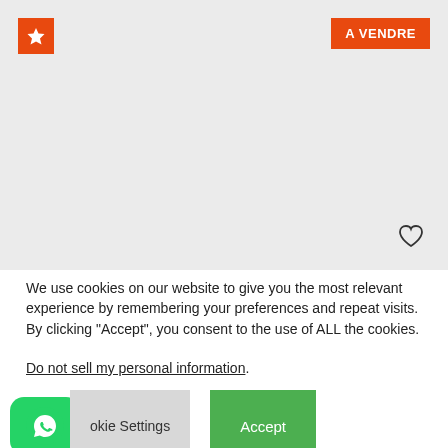[Figure (photo): Light gray image placeholder area with orange star badge top-left, orange 'A VENDRE' badge top-right, and heart icon bottom-right]
We use cookies on our website to give you the most relevant experience by remembering your preferences and repeat visits. By clicking “Accept”, you consent to the use of ALL the cookies.
Do not sell my personal information.
Cookie Settings   Accept